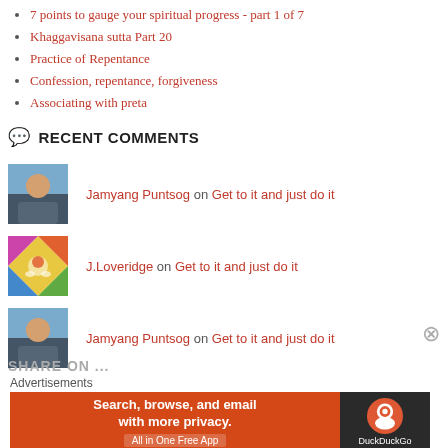7 points to gauge your spiritual progress - part 1 of 7
Khaggavisana sutta Part 20
Practice of Repentance
Confession, repentance, forgiveness
Associating with preta
RECENT COMMENTS
Jamyang Puntsog on Get to it and just do it
J.Loveridge on Get to it and just do it
Jamyang Puntsog on Get to it and just do it
Advertisements
[Figure (infographic): DuckDuckGo advertisement banner: orange left section with text 'Search, browse, and email with more privacy. All in One Free App', dark right section with DuckDuckGo logo and name.]